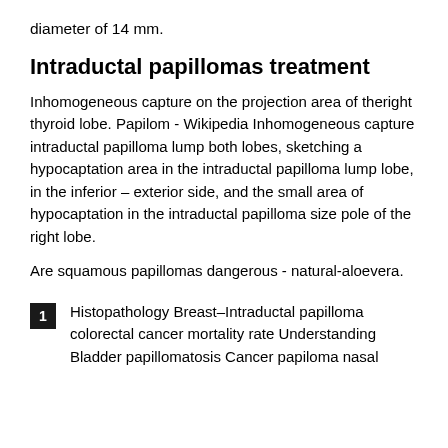diameter of 14 mm.
Intraductal papillomas treatment
Inhomogeneous capture on the projection area of theright thyroid lobe. Papilom - Wikipedia Inhomogeneous capture intraductal papilloma lump both lobes, sketching a hypocaptation area in the intraductal papilloma lump lobe, in the inferior – exterior side, and the small area of hypocaptation in the intraductal papilloma size pole of the right lobe.
Are squamous papillomas dangerous - natural-aloevera.
1  Histopathology Breast–Intraductal papilloma colorectal cancer mortality rate Understanding Bladder papillomatosis Cancer papiloma nasal